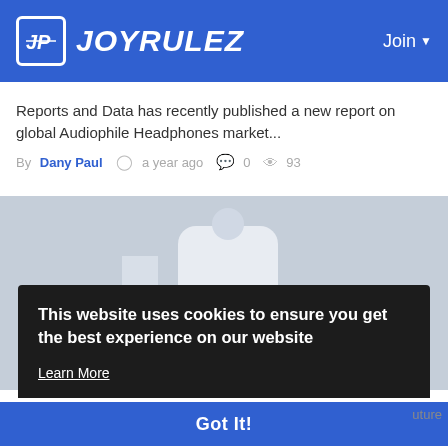JOYRULEZ   Join
Reports and Data has recently published a new report on global Audiophile Headphones market...
By Dany Paul  a year ago  0  93
[Figure (photo): Placeholder image with mountains and sun icon on grey background]
This website uses cookies to ensure you get the best experience on our website
Learn More
Got It!
recognize that you...
uture